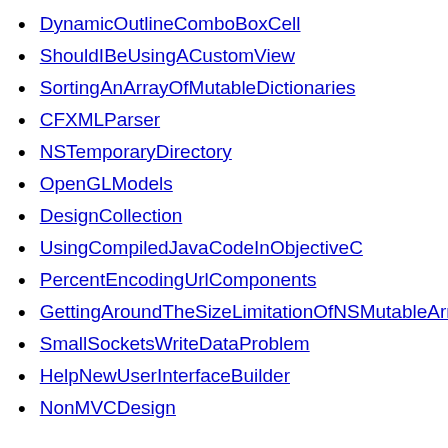DynamicOutlineComboBoxCell
ShouldIBeUsingACustomView
SortingAnArrayOfMutableDictionaries
CFXMLParser
NSTemporaryDirectory
OpenGLModels
DesignCollection
UsingCompiledJavaCodeInObjectiveC
PercentEncodingUrlComponents
GettingAroundTheSizeLimitationOfNSMutableArray
SmallSocketsWriteDataProblem
HelpNewUserInterfaceBuilder
NonMVCDesign